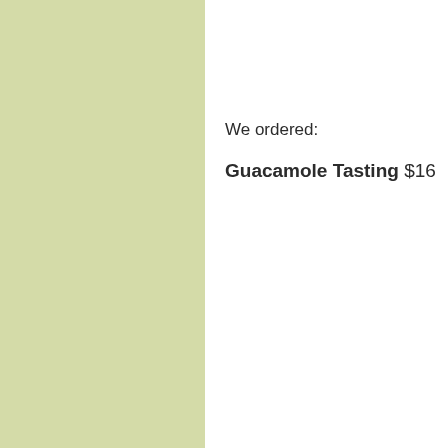[Figure (other): Solid light olive/sage green rectangle filling the left half of the page]
We ordered:
Guacamole Tasting $16